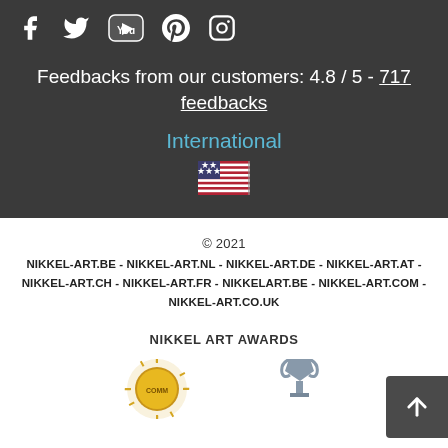[Figure (other): Social media icons: Facebook, Twitter, YouTube, Pinterest, Instagram on dark background]
Feedbacks from our customers: 4.8 / 5 - 717 feedbacks
International
[Figure (other): US flag emoji]
© 2021
NIKKEL-ART.BE - NIKKEL-ART.NL - NIKKEL-ART.DE - NIKKEL-ART.AT - NIKKEL-ART.CH - NIKKEL-ART.FR - NIKKELART.BE - NIKKEL-ART.COM - NIKKEL-ART.CO.UK
NIKKEL ART AWARDS
[Figure (other): Award medals/badges at bottom of page, partially cropped]